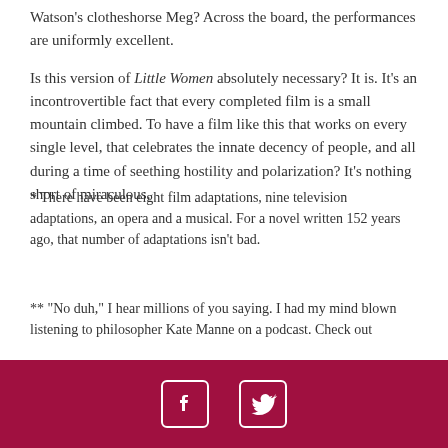Watson's clotheshorse Meg? Across the board, the performances are uniformly excellent.
Is this version of Little Women absolutely necessary? It is. It's an incontrovertible fact that every completed film is a small mountain climbed. To have a film like this that works on every single level, that celebrates the innate decency of people, and all during a time of seething hostility and polarization? It's nothing short of miraculous.
* There have been eight film adaptations, nine television adaptations, an opera and a musical. For a novel written 152 years ago, that number of adaptations isn't bad.
** "No duh," I hear millions of you saying. I had my mind blown listening to philosopher Kate Manne on a podcast. Check out